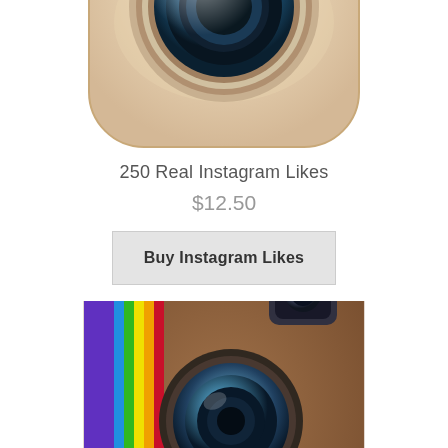[Figure (illustration): Top portion of a cream/beige Instagram camera icon (old skeuomorphic design) showing the camera lens against a rounded square cream background]
250 Real Instagram Likes
$12.50
Buy Instagram Likes
[Figure (illustration): Bottom portion cut off: Instagram camera icon (brown leather texture with rainbow color stripe on left, viewfinder square top right, Insta label at bottom, large camera lens in center) — the classic Instagram logo]